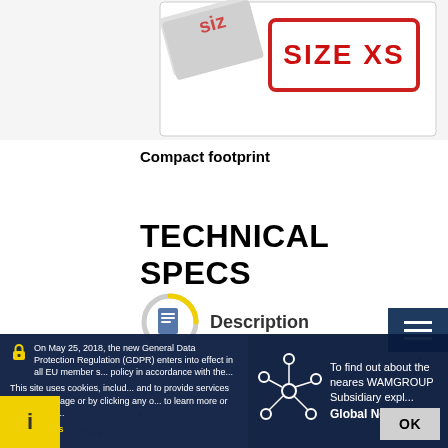[Figure (photo): Product photo with 'SIZE XS' stamp/label in red on white background]
Compact footprint
TECHNICAL SPECS
[Figure (illustration): Circular progress icon with document/description symbol inside, yellow arc on grey ring]
Description
On May 25, 2018, the new General Data Protection Regulation (GDPR) enters into effect in all EU member s... policy in accordance with the...
This site uses cookies, includ... and to provide services in lin... this page or by clicking any o... to learn more or opt out of al...
and Cookies
To find out about the neares WAMGROUP Subsidiary expl... Global Network
[Figure (network-graph): Network node diagram with hexagonal connection points on dark blue background]
OK